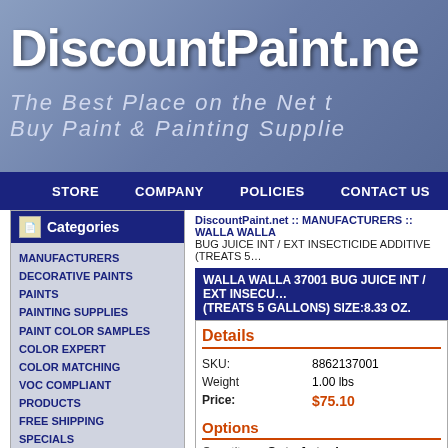DiscountPaint.net — The Best Place on the Net to Buy Paint & Painting Supplies
STORE  COMPANY  POLICIES  CONTACT US
Categories
MANUFACTURERS
DECORATIVE PAINTS
PAINTS
PAINTING SUPPLIES
PAINT COLOR SAMPLES
COLOR EXPERT
COLOR MATCHING
VOC COMPLIANT PRODUCTS
FREE SHIPPING SPECIALS
OVERSTOCK SPECIALS
Manufacturers
MODERN MASTERS
HAMMERITE
ZINSSER
MAJIC PAINTS
UGL
ADVANCE PROTECTIVE PRODUCTS
MINWAY
DiscountPaint.net :: MANUFACTURERS :: WALLA WALLA :: BUG JUICE INT / EXT INSECTICIDE ADDITIVE (TREATS 5 GALLONS) SIZE:8.33 OZ.
WALLA WALLA 37001 BUG JUICE INT / EXT INSECTICIDE ADDITIVE (TREATS 5 GALLONS) SIZE:8.33 OZ.
| Field | Value |
| --- | --- |
| SKU: | 8862137001 |
| Weight | 1.00 lbs |
| Price: | $75.10 |
Options
Quantity   Out of stock
Recommended products list
MERIT PRO D5102 PROFESSIONAL SOLETEC BRUS…
ZINSSER 02754 SEMIGLOSS PERMAWHITE SIZE:QU…
WOOSTER Z1196 FACTORY SALE WHITE CHINA SIZ…
WOOSTER Z1293 PRO 30 LINDBECK ANGULAR SA…